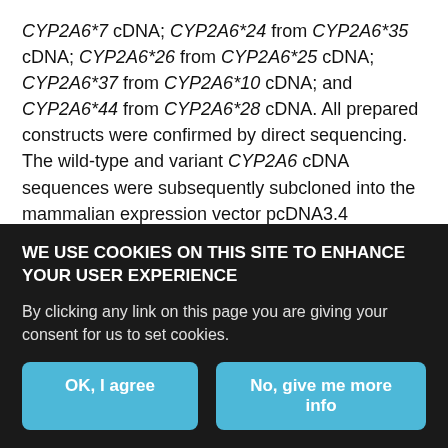CYP2A6*7 cDNA; CYP2A6*24 from CYP2A6*35 cDNA; CYP2A6*26 from CYP2A6*25 cDNA; CYP2A6*37 from CYP2A6*10 cDNA; and CYP2A6*44 from CYP2A6*28 cDNA. All prepared constructs were confirmed by direct sequencing. The wild-type and variant CYP2A6 cDNA sequences were subsequently subcloned into the mammalian expression vector pcDNA3.4 (ThermoFisher Scientific).
Expression of CYP2A6 Variant Proteins in 293FT Cells.
We cultured 293FT cells in Dulbecco's modified Eagle's medium (Nacalai Tesque, Kyoto, Japan) containing 10% fetal bovine serum at 37°C in the presence of 5% CO2. Cells were transfected with
WE USE COOKIES ON THIS SITE TO ENHANCE YOUR USER EXPERIENCE
By clicking any link on this page you are giving your consent for us to set cookies.